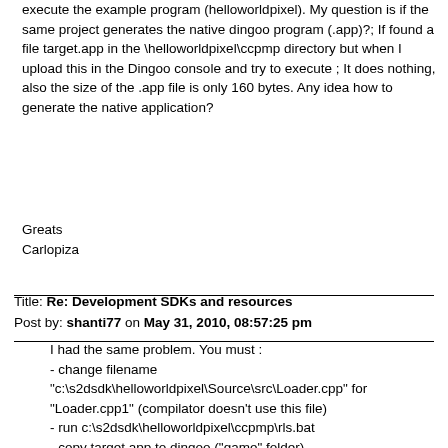execute the example program (helloworldpixel). My question is if the same project generates the native dingoo program (.app)?; If found a file target.app in the \helloworldpixel\ccpmp directory but when I upload this in the Dingoo console and try to execute ; It does nothing, also the size of the .app file is only 160 bytes. Any idea how to generate the native application?
Greats
Carlopiza
Title: Re: Development SDKs and resources
Post by: shanti77 on May 31, 2010, 08:57:25 pm
I had the same problem. You must :
- change filename "c:\s2dsdk\helloworldpixel\Source\src\Loader.cpp" for "Loader.cpp1" (compilator doesn't use this file)
- run c:\s2dsdk\helloworldpixel\ccpmp\rls.bat
- copy target.app to dingoo ("game" folder)

When You use Visual C++ You must change filename from "Loader.cpp1" -> "Loader.cpp"
Title: Re: Development SDKs and resources
Post by: Tim0xA on June 03, 2010, 10:28:15 pm